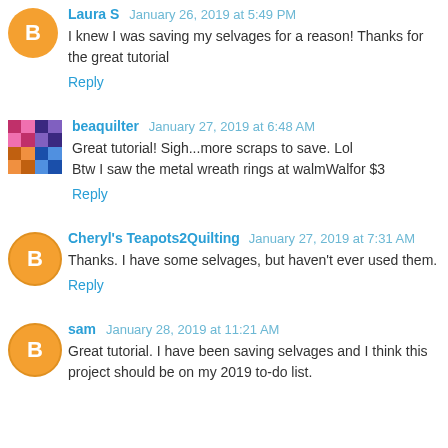Laura S  January 26, 2019 at 5:49 PM
I knew I was saving my selvages for a reason! Thanks for the great tutorial
Reply
[Figure (illustration): Blogger default avatar - orange circle with white B letter]
beaquilter  January 27, 2019 at 6:48 AM
Great tutorial! Sigh...more scraps to save. Lol
Btw I saw the metal wreath rings at walmWalfor $3
Reply
[Figure (photo): Quilter avatar - colorful quilt pattern squares in pink, blue, orange]
Cheryl's Teapots2Quilting  January 27, 2019 at 7:31 AM
Thanks. I have some selvages, but haven't ever used them.
Reply
[Figure (illustration): Blogger default avatar - orange circle with white B letter]
sam  January 28, 2019 at 11:21 AM
Great tutorial. I have been saving selvages and I think this project should be on my 2019 to-do list.
[Figure (illustration): Blogger default avatar - orange circle with white B letter]